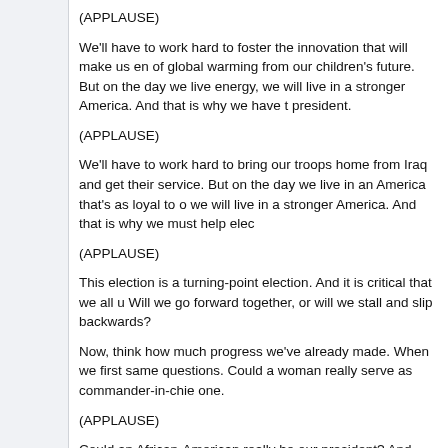(APPLAUSE)
We'll have to work hard to foster the innovation that will make us en of global warming from our children's future. But on the day we live energy, we will live in a stronger America. And that is why we have t president.
(APPLAUSE)
We'll have to work hard to bring our troops home from Iraq and get their service. But on the day we live in an America that's as loyal to o we will live in a stronger America. And that is why we must help elec
(APPLAUSE)
This election is a turning-point election. And it is critical that we all u Will we go forward together, or will we stall and slip backwards?
Now, think how much progress we've already made. When we first same questions. Could a woman really serve as commander-in-chie one.
(APPLAUSE)
Could an African-American really be our president? And Senator Ob
(APPLAUSE)